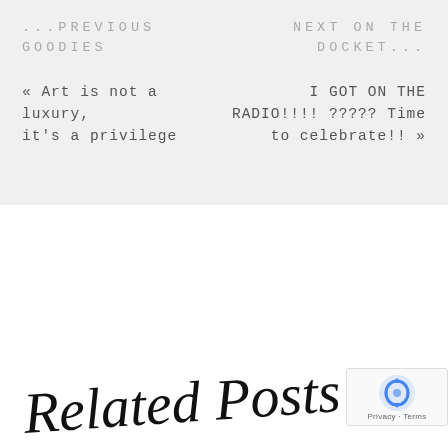...PREVIOUS GOODIES
NEXT ON THE DOCKET...
« Art is not a luxury, it's a privilege
I GOT ON THE RADIO!!!! ????? Time to celebrate!! »
[Figure (illustration): Handwritten cursive script reading 'Related Posts' partially visible at bottom of page]
[Figure (other): reCAPTCHA badge widget with circular arrow icon and Privacy/Terms text]